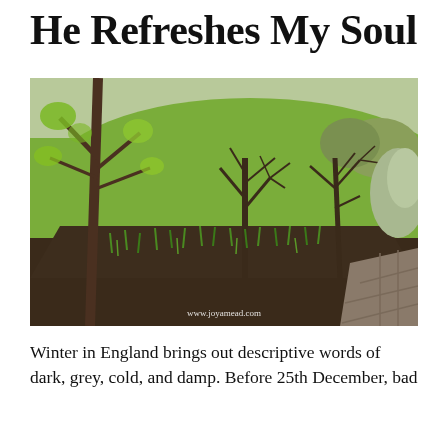He Refreshes My Soul
[Figure (photo): A garden in early spring in England showing bare-branched trees and shrubs, green grass lawn in the background, and emerging bulb shoots (daffodils) in dark soil flower beds. A brick path is visible at the right edge. Watermark reads www.joyamead.com]
Winter in England brings out descriptive words of dark, grey, cold, and damp. Before 25th December, bad